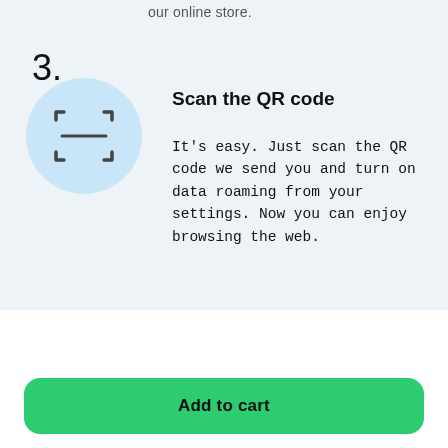our online store.
[Figure (illustration): Light blue circle with a QR code scanning frame icon in the center]
Scan the QR code
It's easy. Just scan the QR code we send you and turn on data roaming from your settings. Now you can enjoy browsing the web.
- 1 +
Add to cart